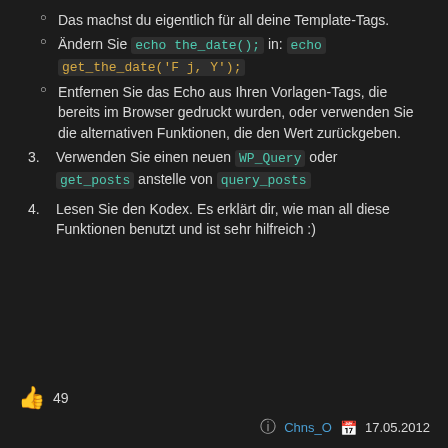Das machst du eigentlich für all deine Template-Tags.
Ändern Sie echo the_date(); in: echo get_the_date('F j, Y');
Entfernen Sie das Echo aus Ihren Vorlagen-Tags, die bereits im Browser gedruckt wurden, oder verwenden Sie die alternativen Funktionen, die den Wert zurückgeben.
3. Verwenden Sie einen neuen WP_Query oder get_posts anstelle von query_posts
4. Lesen Sie den Kodex. Es erklärt dir, wie man all diese Funktionen benutzt und ist sehr hilfreich :)
👍 49
Chns_O  17.05.2012